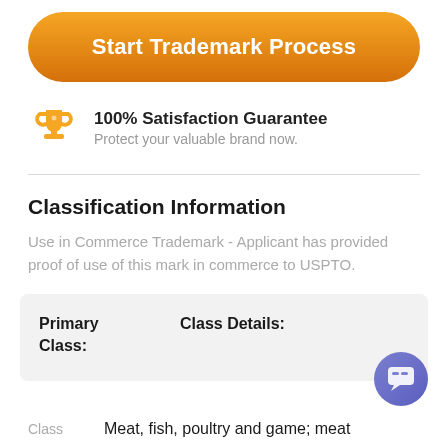[Figure (other): Orange gradient rounded button with text 'Start Trademark Process']
[Figure (illustration): Orange trophy icon]
100% Satisfaction Guarantee
Protect your valuable brand now.
Classification Information
Use in Commerce Trademark - Applicant has provided proof of use of this mark in commerce to USPTO.
| Primary Class: | Class Details: |
| --- | --- |
Class    Meat, fish, poultry and game; meat